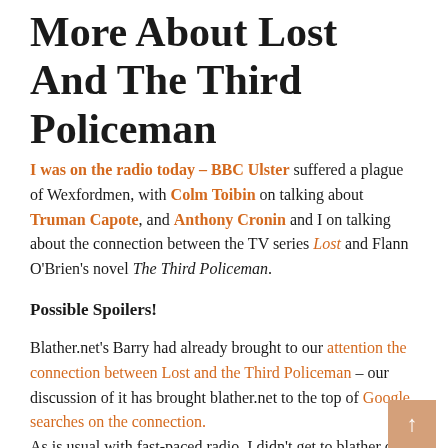More About Lost And The Third Policeman
I was on the radio today – BBC Ulster suffered a plague of Wexfordmen, with Colm Toibin on talking about Truman Capote, and Anthony Cronin and I on talking about the connection between the TV series Lost and Flann O'Brien's novel The Third Policeman.
Possible Spoilers!
Blather.net's Barry had already brought to our attention the connection between Lost and the Third Policeman – our discussion of it has brought blather.net to the top of Google searches on the connection. As is usual with fast-paced radio, I didn't get to blather on about half of what I wanted to. Lacking a fag-packet, I scribbled some notes in the studio beforehand, and never